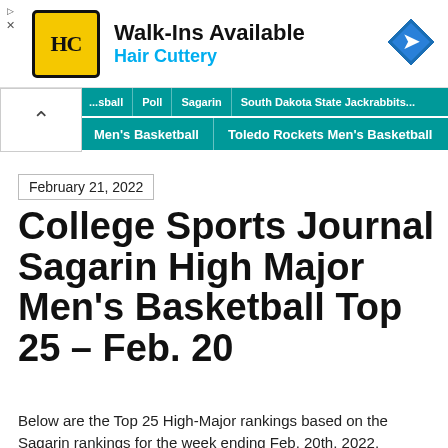[Figure (other): Hair Cuttery advertisement banner with yellow logo marked HC, text Walk-Ins Available and Hair Cuttery in blue, and a blue diamond navigation icon on the right]
Men's Basketball | Toledo Rockets Men's Basketball
February 21, 2022
College Sports Journal Sagarin High Major Men's Basketball Top 25 – Feb. 20
Below are the Top 25 High-Major rankings based on the Sagarin rankings for the week ending Feb. 20th, 2022. Gonzaga stays at the top in these rankings, as well as the overall ranked